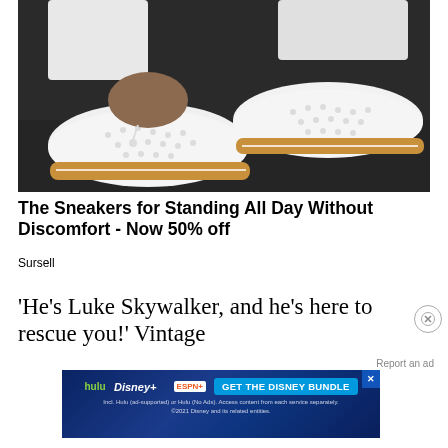[Figure (photo): Close-up photo of person wearing white perforated slip-on sneakers with tan/brown cork soles and white stitching detail, on dark pavement]
The Sneakers for Standing All Day Without Discomfort - Now 50% off
Sursell
'He's Luke Skywalker, and he's here to rescue you!' Vintage
[Figure (screenshot): Disney Bundle advertisement banner showing Hulu, Disney+, and ESPN+ logos with 'GET THE DISNEY BUNDLE' call to action button and fine print text]